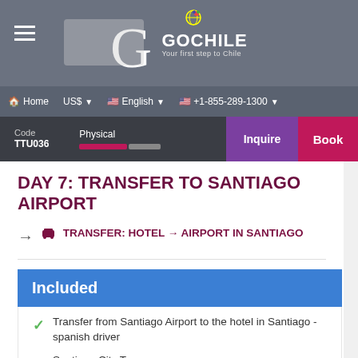[Figure (screenshot): GoChile website header with logo showing 'G GoChile Your first step to Chile' on a gray background]
Home  US$  English  +1-855-289-1300
Code TTU036  Physical  Inquire  Book
DAY 7: TRANSFER TO SANTIAGO AIRPORT
TRANSFER: HOTEL → AIRPORT IN SANTIAGO
Included
Transfer from Santiago Airport to the hotel in Santiago - spanish driver
Santiago City Tour